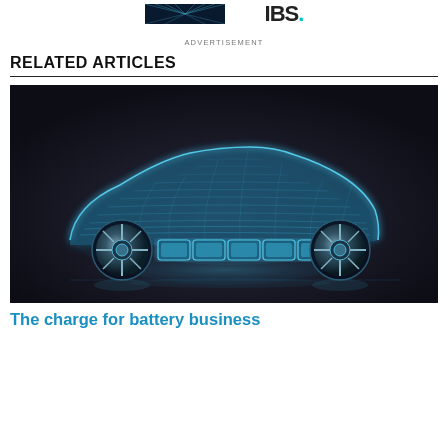ADVERTISEMENT
RELATED ARTICLES
[Figure (photo): Stylized 3D rendering of an electric vehicle shown as a blue wireframe/luminescent car body with visible battery pack modules underneath the chassis, displayed against a dark background.]
The charge for battery business